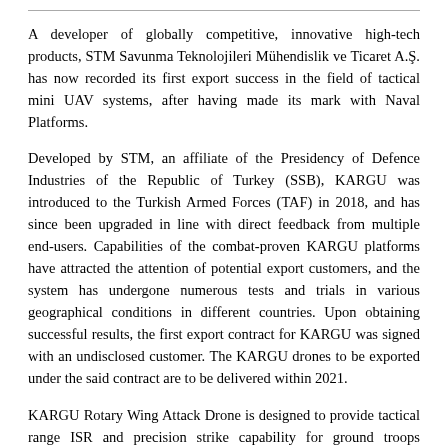A developer of globally competitive, innovative high-tech products, STM Savunma Teknolojileri Mühendislik ve Ticaret A.Ş. has now recorded its first export success in the field of tactical mini UAV systems, after having made its mark with Naval Platforms.
Developed by STM, an affiliate of the Presidency of Defence Industries of the Republic of Turkey (SSB), KARGU was introduced to the Turkish Armed Forces (TAF) in 2018, and has since been upgraded in line with direct feedback from multiple end-users. Capabilities of the combat-proven KARGU platforms have attracted the attention of potential export customers, and the system has undergone numerous tests and trials in various geographical conditions in different countries. Upon obtaining successful results, the first export contract for KARGU was signed with an undisclosed customer. The KARGU drones to be exported under the said contract are to be delivered within 2021.
KARGU Rotary Wing Attack Drone is designed to provide tactical range ISR and precision strike capability for ground troops operating in high-risk areas of operation. The system can be deployed and operated by single personnel and is effective against both static and mobile targets thanks to the indigenously developed flight control